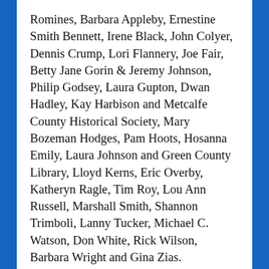Romines, Barbara Appleby, Ernestine Smith Bennett, Irene Black, John Colyer, Dennis Crump, Lori Flannery, Joe Fair, Betty Jane Gorin & Jeremy Johnson, Philip Godsey, Laura Gupton, Dwan Hadley, Kay Harbison and Metcalfe County Historical Society, Mary Bozeman Hodges, Pam Hoots, Hosanna Emily, Laura Johnson and Green County Library, Lloyd Kerns, Eric Overby, Katheryn Ragle, Tim Roy, Lou Ann Russell, Marshall Smith, Shannon Trimboli, Lanny Tucker, Michael C. Watson, Don White, Rick Wilson, Barbara Wright and Gina Zias.
Daughters of American Revolutionary and Daughters of Men of 1812, Barren County